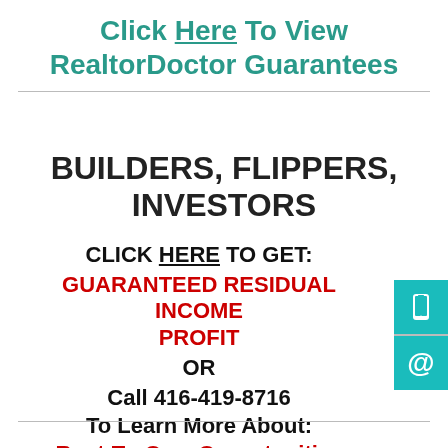Click Here To View RealtorDoctor Guarantees
BUILDERS, FLIPPERS, INVESTORS
CLICK HERE TO GET: GUARANTEED RESIDUAL INCOME PROFIT OR Call 416-419-8716 To Learn More About: Rent-To-Own Opportunities
[Figure (infographic): Teal sidebar with phone icon and @ email icon]